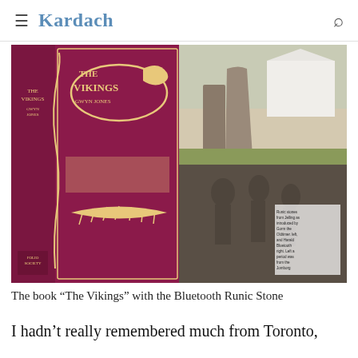≡ Kardach
[Figure (photo): Left side shows a red Folio Society book titled 'The Vikings' by Gwyn Jones with golden Norse dragon decoration on the cover. Right side shows two images: top is the Bluetooth Runic Stone (Jelling stone) photographed outdoors near a white church, bottom is a carved stone relief depicting Viking-age figures.]
The book “The Vikings” with the Bluetooth Runic Stone
I hadn’t really remembered much from Toronto,